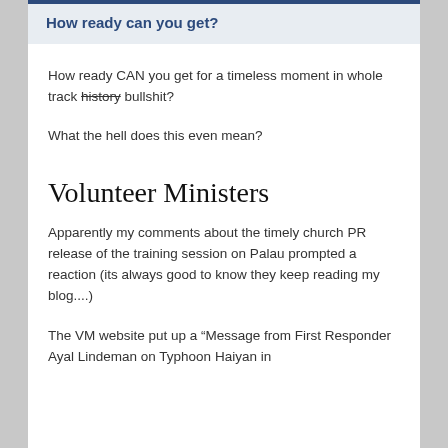How ready can you get?
How ready CAN you get for a timeless moment in whole track history bullshit?
What the hell does this even mean?
Volunteer Ministers
Apparently my comments about the timely church PR release of the training session on Palau prompted a reaction (its always good to know they keep reading my blog....)
The VM website put up a “Message from First Responder Ayal Lindeman on Typhoon Haiyan in